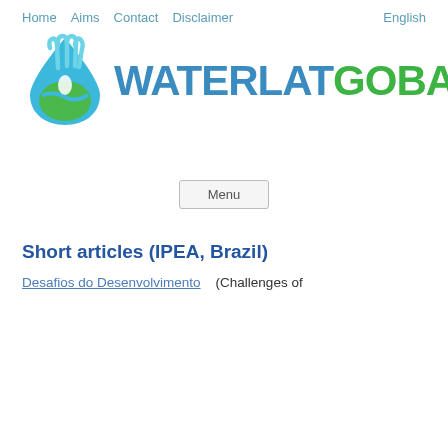Home  Aims  Contact  Disclaimer    English
[Figure (logo): WATERLATGOBACIT logo: a blue water droplet with a hand and globe illustration, followed by the text WATERLAT in blue and GOBACIT in green.]
Menu
Short articles (IPEA, Brazil)
Desafios do Desenvolvimento  (Challenges of